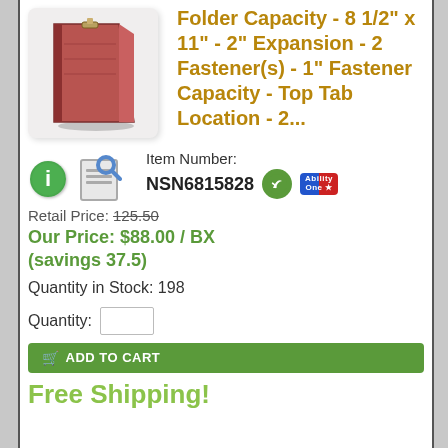[Figure (photo): Red/brown file folder product image shown at an angle]
Folder Capacity - 8 1/2" x 11" - 2" Expansion - 2 Fastener(s) - 1" Fastener Capacity - Top Tab Location - 2...
Item Number:
NSN6815828
Retail Price: 125.50
Our Price: $88.00 / BX (savings 37.5)
Quantity in Stock: 198
Quantity:
ADD TO CART
Free Shipping!